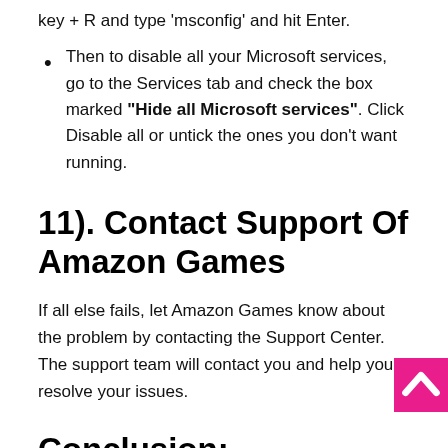key + R and type 'msconfig' and hit Enter.
Then to disable all your Microsoft services, go to the Services tab and check the box marked "Hide all Microsoft services". Click Disable all or untick the ones you don't want running.
11). Contact Support Of Amazon Games
If all else fails, let Amazon Games know about the problem by contacting the Support Center. The support team will contact you and help you resolve your issues.
Conclusion:
That was quite a lot of information to take in at once, but don't worry. Just follow the steps outlined above and you will soon